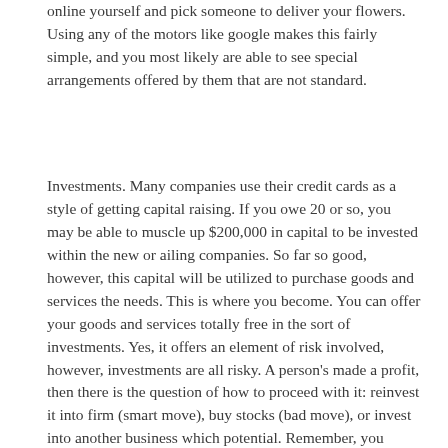online yourself and pick someone to deliver your flowers. Using any of the motors like google makes this fairly simple, and you most likely are able to see special arrangements offered by them that are not standard.
Investments. Many companies use their credit cards as a style of getting capital raising. If you owe 20 or so, you may be able to muscle up $200,000 in capital to be invested within the new or ailing companies. So far so good, however, this capital will be utilized to purchase goods and services the needs. This is where you become. You can offer your goods and services totally free in the sort of investments. Yes, it offers an element of risk involved, however, investments are all risky. A person's made a profit, then there is the question of how to proceed with it: reinvest it into firm (smart move), buy stocks (bad move), or invest into another business which potential. Remember, you aren't investing your cash but your services, a less risky move.